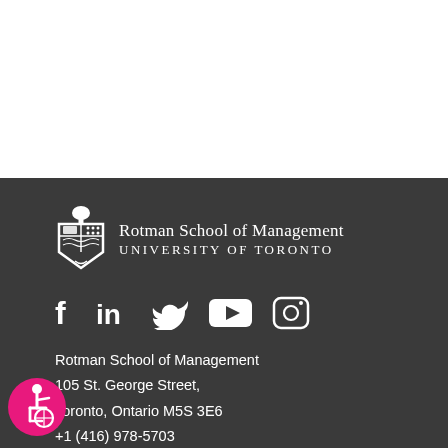[Figure (logo): Rotman School of Management – University of Toronto logo with shield crest and text]
[Figure (infographic): Social media icons: Facebook, LinkedIn, Twitter, YouTube, Instagram]
Rotman School of Management
105 St. George Street,
Toronto, Ontario M5S 3E6
+1 (416) 978-5703
[Figure (logo): Accessibility icon badge (pink circle with wheelchair symbol)]